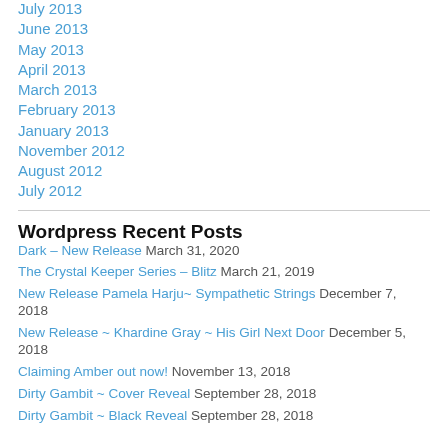July 2013
June 2013
May 2013
April 2013
March 2013
February 2013
January 2013
November 2012
August 2012
July 2012
Wordpress Recent Posts
Dark – New Release March 31, 2020
The Crystal Keeper Series – Blitz March 21, 2019
New Release Pamela Harju~ Sympathetic Strings December 7, 2018
New Release ~ Khardine Gray ~ His Girl Next Door December 5, 2018
Claiming Amber out now! November 13, 2018
Dirty Gambit ~ Cover Reveal September 28, 2018
Dirty Gambit ~ Black Reveal September 28, 2018